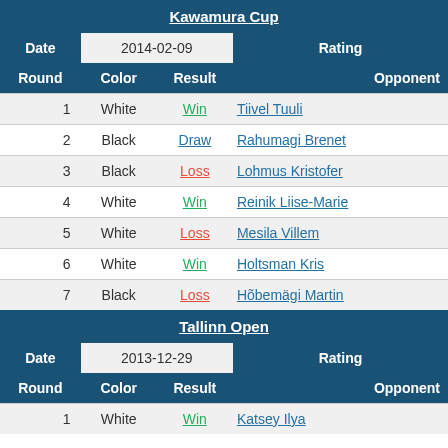| Round | Color | Result | Opponent |
| --- | --- | --- | --- |
| 1 | White | Win | Tiivel Tuuli |
| 2 | Black | Draw | Rahumagi Brenet |
| 3 | Black | Loss | Lohmus Kristofer |
| 4 | White | Win | Reinik Liise-Marie |
| 5 | White | Loss | Mesila Villem |
| 6 | White | Win | Holtsman Kris |
| 7 | Black | Loss | Hõbemägi Martin |
| Round | Color | Result | Opponent |
| --- | --- | --- | --- |
| 1 | White | Win | Katsey Ilya |